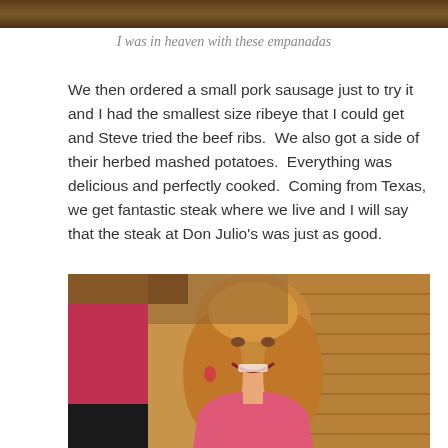[Figure (photo): Top portion of a photo visible at the top of the page, cropped]
I was in heaven with these empanadas
We then ordered a small pork sausage just to try it and I had the smallest size ribeye that I could get and Steve tried the beef ribs.  We also got a side of their herbed mashed potatoes.  Everything was delicious and perfectly cooked.  Coming from Texas, we get fantastic steak where we live and I will say that the steak at Don Julio’s was just as good.
[Figure (photo): A smiling woman with long blonde hair wearing a pink top, standing in front of a rustic brick wall in a restaurant setting]